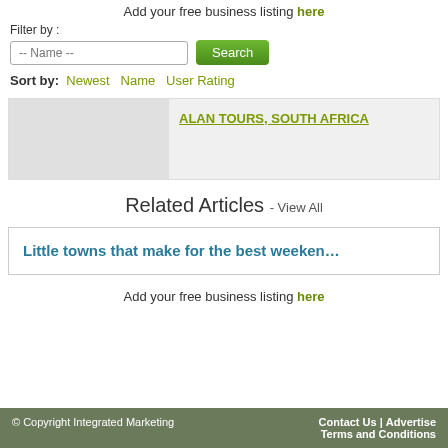Add your free business listing here
Filter by :
Sort by: Newest  Name  User Rating
ALAN TOURS, SOUTH AFRICA
Related Articles - View All
Little towns that make for the best weeken…
Add your free business listing here
© Copyright Integrated Marketing   Contact Us | Advertise  Terms and Conditions